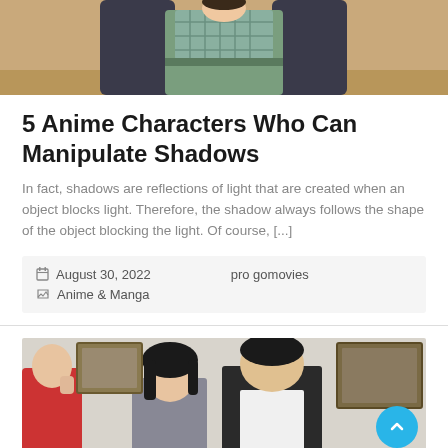[Figure (illustration): Anime character illustration showing a person in a green outfit with a plaid/grid pattern top, standing against a sandy/desert background]
5 Anime Characters Who Can Manipulate Shadows
In fact, shadows are reflections of light that are created when an object blocks light. Therefore, the shadow always follows the shape of the object blocking the light. Of course, [...]
August 30, 2022    pro gomovies
Anime & Manga
[Figure (photo): Movie still photo showing three people in what appears to be an art museum or gallery setting, with paintings visible in the background. A young man in a black vest is in the center, a young woman with dark hair to his left, and another person in red partially visible on the far left.]